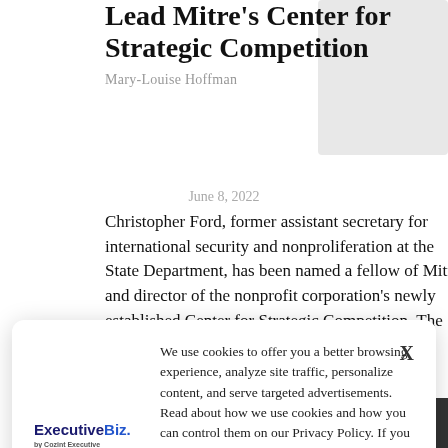Lead Mitre's Center for Strategic Competition
Mary-Louise Hoffman
June 8, 2022
[Figure (photo): Gray placeholder image in upper right corner]
Christopher Ford, former assistant secretary for international security and nonproliferation at the State Department, has been named a fellow of Mitre and director of the nonprofit corporation's newly established Center for Strategic Competition. The Harvard College and Yale Law
We use cookies to offer you a better browsing experience, analyze site traffic, personalize content, and serve targeted advertisements. Read about how we use cookies and how you can control them on our Privacy Policy. If you continue to use this site, you consent to our use of cookies.
Named Health Organizational